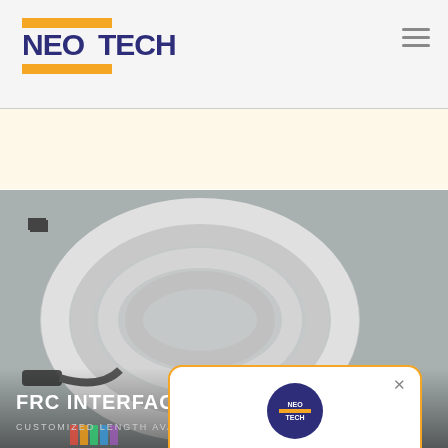[Figure (logo): NEO TECH logo with orange bars above and below text, dark navy blue bold text]
[Figure (screenshot): Main product image showing white FRC interface cables coiled on grey background with dark connectors at ends. Overlay shows 'FRC INTERFACE CABLES' title and 'CUSTOMIZED LENGTH AVAILABLE' subtitle. A chat popup from NEOTECH is visible with welcome message.]
FRC INTERFACE CABLES
CUSTOMIZED LENGTH AVAILABLE
NEOTECH
Welcome to NEOTECH...!!! How may i help you...???